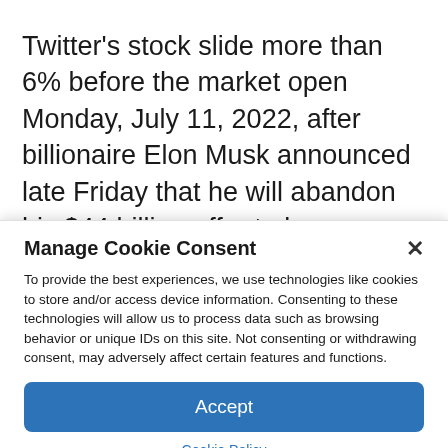Twitter's stock slide more than 6% before the market open Monday, July 11, 2022, after billionaire Elon Musk announced late Friday that he will abandon his $44 billion offer to buy Twitter.Richard Drew/The Associated Press Elon Musk on Monday mocked Twitter
Manage Cookie Consent
To provide the best experiences, we use technologies like cookies to store and/or access device information. Consenting to these technologies will allow us to process data such as browsing behavior or unique IDs on this site. Not consenting or withdrawing consent, may adversely affect certain features and functions.
Accept
Cookie Policy